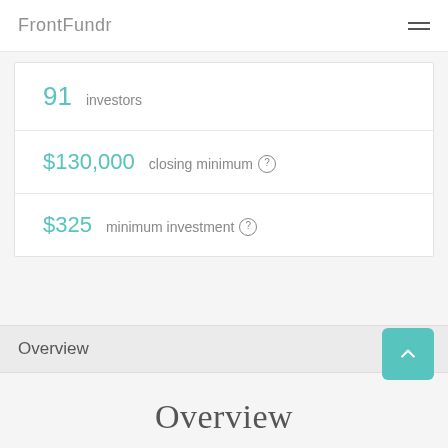FrontFundr
91  investors
$130,000  closing minimum
$325  minimum investment
Overview
Overview